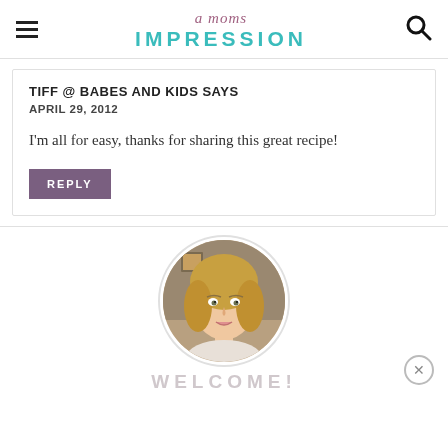a moms IMPRESSION
TIFF @ BABES AND KIDS SAYS
APRIL 29, 2012
I'm all for easy, thanks for sharing this great recipe!
REPLY
[Figure (photo): Circular profile photo of a woman with blonde wavy hair]
WELCOME!